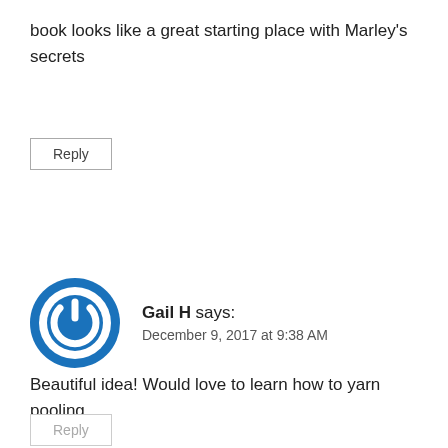book looks like a great starting place with Marley's secrets
Reply
Gail H says: December 9, 2017 at 9:38 AM
Beautiful idea! Would love to learn how to yarn pooling
Reply